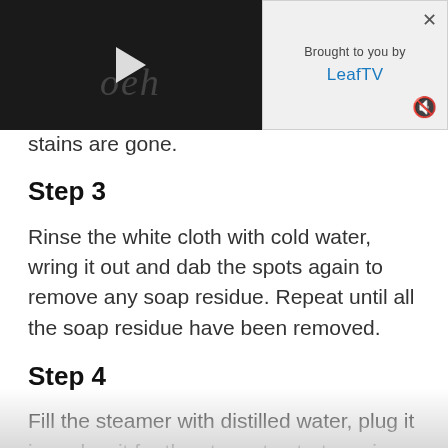[Figure (screenshot): Video player overlay showing a dark video thumbnail with a white play button, and an advertisement panel to the right reading 'Brought to you by LeafTV' with close and mute icons.]
stains are gone.
Step 3
Rinse the white cloth with cold water, wring it out and dab the spots again to remove any soap residue. Repeat until all the soap residue have been removed.
Step 4
Fill the steamer with distilled water, plug it in and wait for the steam to start coming out of the nozzle. Hold the steamer 6 inches away from the dress and steam from the bottom hem to the neckline. This will freshen the dress and remove